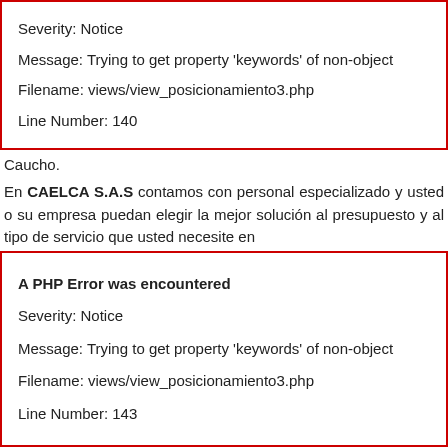Severity: Notice
Message: Trying to get property 'keywords' of non-object
Filename: views/view_posicionamiento3.php
Line Number: 140
Caucho.
En CAELCA S.A.S contamos con personal especializado y usted o su empresa puedan elegir la mejor solución al presupuesto y al tipo de servicio que usted necesite en
A PHP Error was encountered
Severity: Notice
Message: Trying to get property 'keywords' of non-object
Filename: views/view_posicionamiento3.php
Line Number: 143
Caucho.